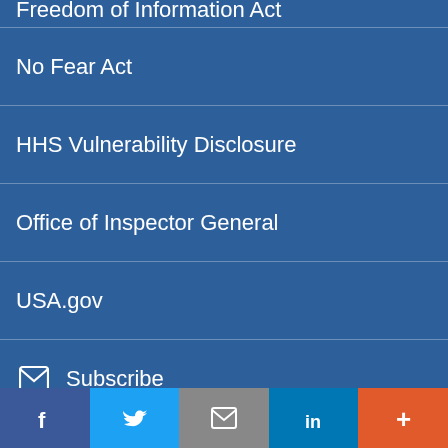Freedom of Information Act
No Fear Act
HHS Vulnerability Disclosure
Office of Inspector General
USA.gov
Subscribe
Facebook
Twitter
RSS